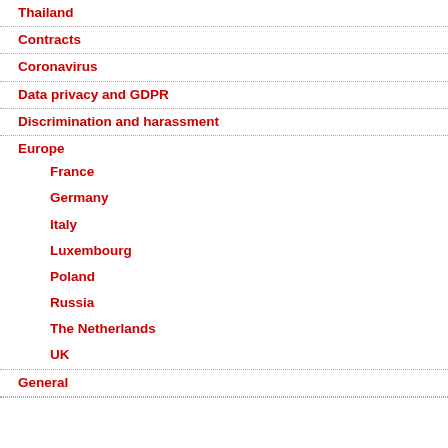Thailand
Contracts
Coronavirus
Data privacy and GDPR
Discrimination and harassment
Europe
France
Germany
Italy
Luxembourg
Poland
Russia
The Netherlands
UK
General